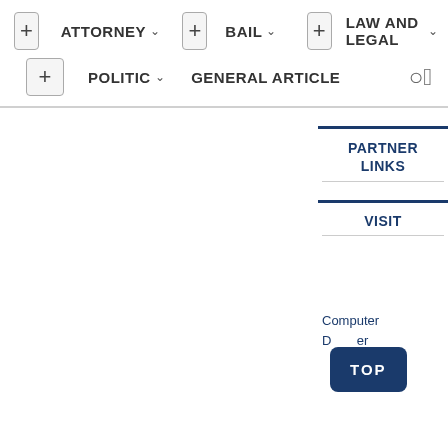[Figure (screenshot): Navigation menu with plus buttons and menu items: ATTORNEY, BAIL, LAW AND LEGAL, POLITIC, GENERAL ARTICLE, and a search icon]
ATTORNEY
BAIL
LAW AND LEGAL
POLITIC
GENERAL ARTICLE
PARTNER LINKS
VISIT
Computer D...er
TOP